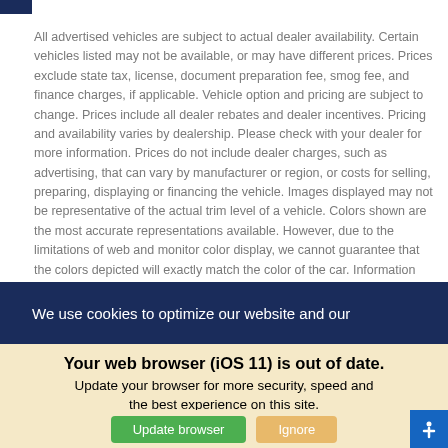All advertised vehicles are subject to actual dealer availability. Certain vehicles listed may not be available, or may have different prices. Prices exclude state tax, license, document preparation fee, smog fee, and finance charges, if applicable. Vehicle option and pricing are subject to change. Prices include all dealer rebates and dealer incentives. Pricing and availability varies by dealership. Please check with your dealer for more information. Prices do not include dealer charges, such as advertising, that can vary by manufacturer or region, or costs for selling, preparing, displaying or financing the vehicle. Images displayed may not be representative of the actual trim level of a vehicle. Colors shown are the most accurate representations available. However, due to the limitations of web and monitor color display, we cannot guarantee that the colors depicted will exactly match the color of the car. Information provided is believed accurate
We use cookies to optimize our website and our
Your web browser (iOS 11) is out of date. Update your browser for more security, speed and the best experience on this site.
Update browser
Ignore